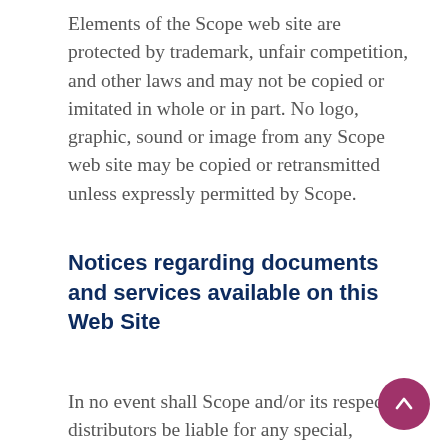Elements of the Scope web site are protected by trademark, unfair competition, and other laws and may not be copied or imitated in whole or in part. No logo, graphic, sound or image from any Scope web site may be copied or retransmitted unless expressly permitted by Scope.
Notices regarding documents and services available on this Web Site
In no event shall Scope and/or its respective distributors be liable for any special, indirect or consequential damages...